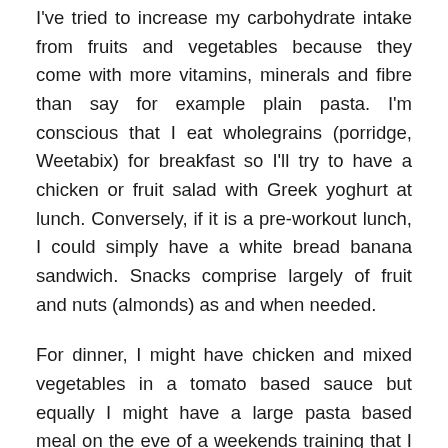I've tried to increase my carbohydrate intake from fruits and vegetables because they come with more vitamins, minerals and fibre than say for example plain pasta. I'm conscious that I eat wholegrains (porridge, Weetabix) for breakfast so I'll try to have a chicken or fruit salad with Greek yoghurt at lunch. Conversely, if it is a pre-workout lunch, I could simply have a white bread banana sandwich. Snacks comprise largely of fruit and nuts (almonds) as and when needed.
For dinner, I might have chicken and mixed vegetables in a tomato based sauce but equally I might have a large pasta based meal on the eve of a weekends training that I know includes a hard work-out Saturday and a long run Sunday. Other nights, I might have an omelette with cheese, bacon and spinach, sans-carbohydrate. The need for variability and my training